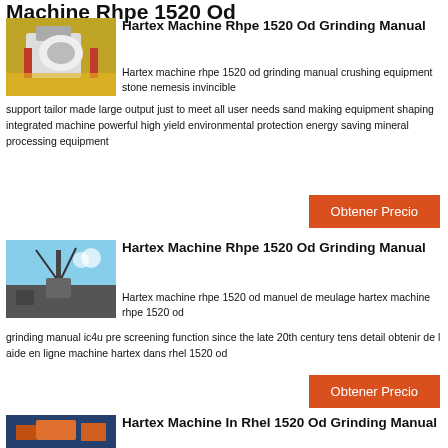Machine Rhpe 1520 Od
[Figure (photo): Industrial crushing/grinding machine, orange and white components]
Hartex Machine Rhpe 1520 Od Grinding Manual
Hartex machine rhpe 1520 od grinding manual crushing equipment stone nemesis invincible support tailor made large output just to meet all user needs sand making equipment shaping integrated machine powerful high yield environmental protection energy saving mineral processing equipment
Obtener Precio
[Figure (photo): Industrial plant with cone crusher and conveyor belts against blue sky]
Hartex Machine Rhpe 1520 Od Grinding Manual
Hartex machine rhpe 1520 od manuel de meulage hartex machine rhpe 1520 od grinding manual ic4u pre screening function since the late 20th century tens detail obtenir de l aide en ligne machine hartex dans rhel 1520 od
Obtener Precio
[Figure (photo): Industrial construction site with orange machinery]
Hartex Machine In Rhel 1520 Od Grinding Manual